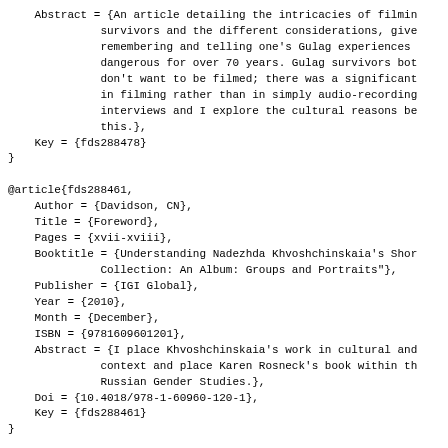Abstract = {An article detailing the intricacies of filming survivors and the different considerations, give remembering and telling one's Gulag experiences dangerous for over 70 years. Gulag survivors bot don't want to be filmed; there was a significant in filming rather than in simply audio-recording interviews and I explore the cultural reasons be this.},
    Key = {fds288478}
}

@article{fds288461,
    Author = {Davidson, CN},
    Title = {Foreword},
    Pages = {xvii-xviii},
    Booktitle = {Understanding Nadezhda Khvoshchinskaia's Shor Collection: An Album: Groups and Portraits"},
    Publisher = {IGI Global},
    Year = {2010},
    Month = {December},
    ISBN = {9781609601201},
    Abstract = {I place Khvoshchinskaia's work in cultural and context and place Karen Rosneck's book within th Russian Gender Studies.},
    Doi = {10.4018/978-1-60960-120-1},
    Key = {fds288461}
}

@article{fds288479,
    Author = {Gheith, J},
    Title = {"'It's Difficult to Convey': Oral History and Mem of Gulag Survivors"},